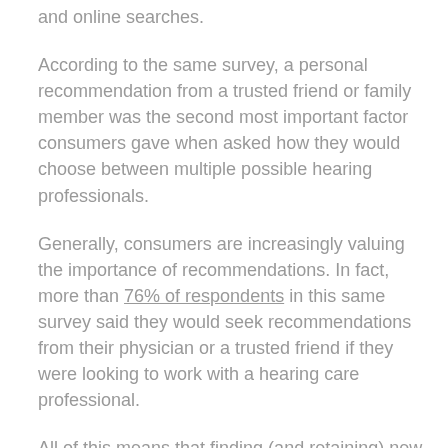and online searches.
According to the same survey, a personal recommendation from a trusted friend or family member was the second most important factor consumers gave when asked how they would choose between multiple possible hearing professionals.
Generally, consumers are increasingly valuing the importance of recommendations. In fact, more than 76% of respondents in this same survey said they would seek recommendations from their physician or a trusted friend if they were looking to work with a hearing care professional.
All of this means that finding (and retaining) new customers through family or friend